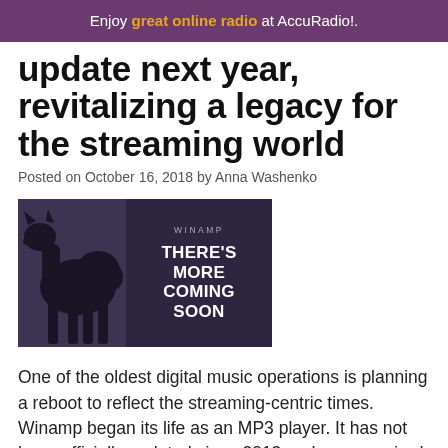Enjoy great online radio at AccuRadio!.
update next year, revitalizing a legacy for the streaming world
Posted on October 16, 2018 by Anna Washenko
[Figure (photo): Winamp teaser image showing a llama silhouette against a dark purple background with text: WINAMP / THERE'S MORE COMING SOON]
One of the oldest digital music operations is planning a reboot to reflect the streaming-centric times. Winamp began its life as an MP3 player. It has not been officially updated since 2013 and was acquired by Radionomy in 2014. Now, the company is working on relaunch for 2019 that will combine Winamp's legacy as a platform for owned libraries with features that have become standard